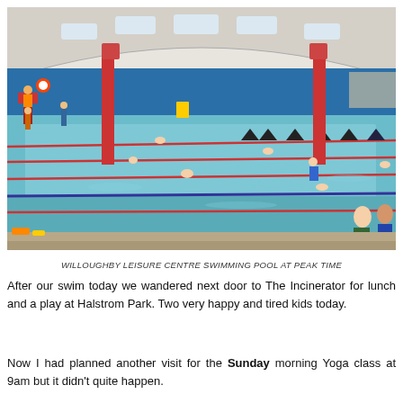[Figure (photo): Indoor swimming pool at Willoughby Leisure Centre at peak time, showing lanes with swimmers, red lane ropes, lifeguards, spectators, and arched white roof with skylights.]
WILLOUGHBY LEISURE CENTRE SWIMMING POOL AT PEAK TIME
After our swim today we wandered next door to The Incinerator for lunch and a play at Halstrom Park. Two very happy and tired kids today.
Now I had planned another visit for the Sunday morning Yoga class at 9am but it didn't quite happen.